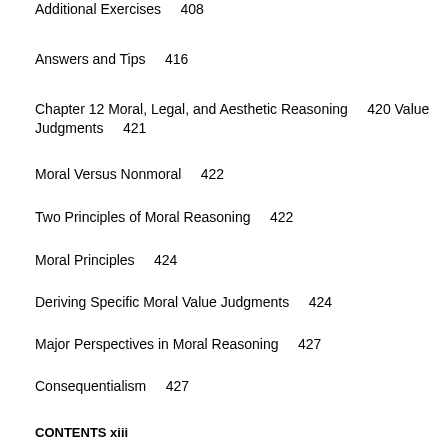Additional Exercises    408
Answers and Tips    416
Chapter 12 Moral, Legal, and Aesthetic Reasoning    420 Value Judgments    421
Moral Versus Nonmoral    422
Two Principles of Moral Reasoning    422
Moral Principles    424
Deriving Specific Moral Value Judgments    424
Major Perspectives in Moral Reasoning    427
Consequentialism    427
Duty Theory/Deontologism    429
Moral Relativism    430
Religious Relativism    432
CONTENTS xiii